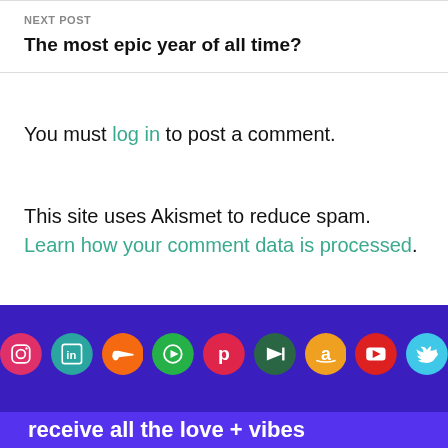NEXT POST
The most epic year of all time?
You must log in to post a comment.
This site uses Akismet to reduce spam. Learn how your comment data is processed.
[Figure (infographic): Row of 9 social media icon circles: Instagram (pink/red), LinkedIn (teal), SoundCloud (orange), Spotify (green), Pinterest (red), Mubi (dark green), Amazon (yellow/orange), YouTube (red), Twitter (light blue)]
receive all the love + vibes